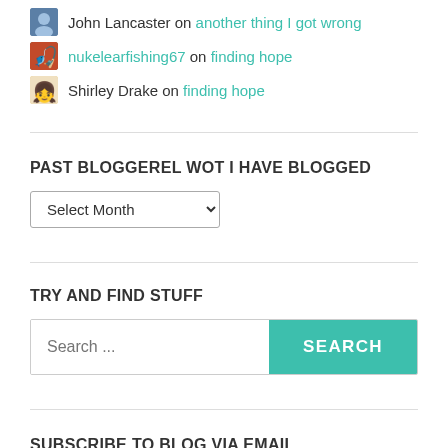John Lancaster on another thing I got wrong
nukelearfishing67 on finding hope
Shirley Drake on finding hope
PAST BLOGGEREL WOT I HAVE BLOGGED
Select Month (dropdown)
TRY AND FIND STUFF
Search ... SEARCH
SUBSCRIBE TO BLOG VIA EMAIL
Enter your email address to subscribe to this blog and